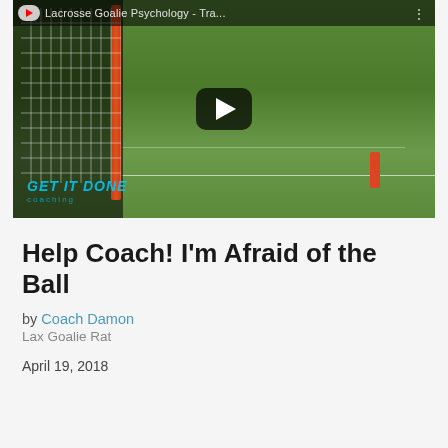[Figure (screenshot): YouTube video thumbnail showing a lacrosse goalie at a goal net on a green field, with a play button overlay. Title bar reads 'Lacrosse Goalie Psychology - Tra...' with a YouTube icon and three-dot menu. Watermark reads 'GET IT DONE' in teal text at bottom left.]
Help Coach! I'm Afraid of the Ball
by Coach Damon
Lax Goalie Rat
April 19, 2018